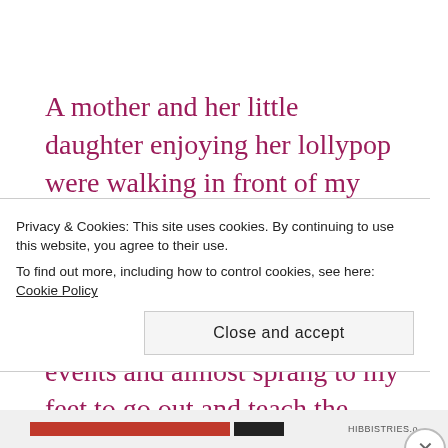A mother and her little daughter enjoying her lollypop were walking in front of my house. The girl simply put her hand inside the iron grills and plucked a rose bud. I was shocked at the turn of the events and almost sprang to my feet to go out and teach the little girl a lesson. But perhaps because in the past f...
Privacy & Cookies: This site uses cookies. By continuing to use this website, you agree to their use.
To find out more, including how to control cookies, see here: Cookie Policy
Close and accept